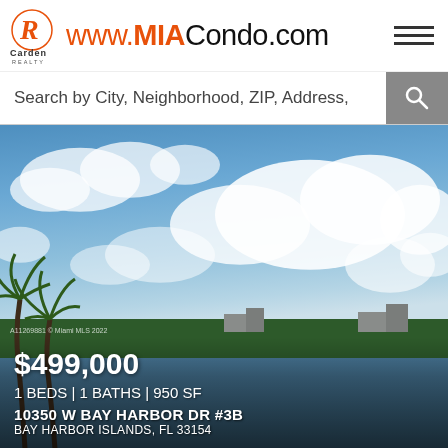[Figure (logo): Carden Realty logo — stylized R in orange with 'Carden REALTY' text below]
www.MIACondo.com
Search by City, Neighborhood, ZIP, Address,
[Figure (photo): Aerial view of bay waterway in Bay Harbor Islands, FL with blue sky, white clouds, palm trees in foreground, and distant city buildings across the water]
$499,000
1 BEDS | 1 BATHS | 950 SF
10350 W BAY HARBOR DR #3B
BAY HARBOR ISLANDS, FL 33154